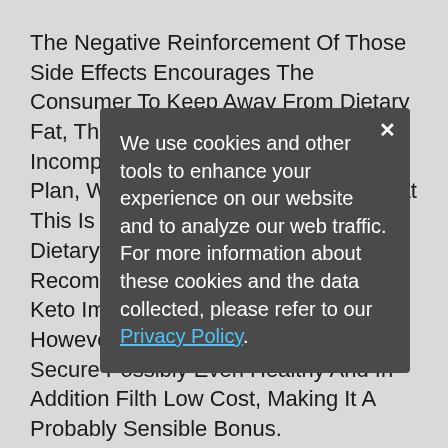The Negative Reinforcement Of Those Side Effects Encourages The Consumer To Keep Away From Dietary Fat, This Medicine Is Usually Incompatible With A Low Carb Food Plan, Which Tends To Be Greater In Fat This Is True Even For The Vitamin Dietary Supplements Talked About In Recommendation 13 The Whole Food Keto Impact Is Definitely Small, However In That Case It S Additionally Secure Possibly Even Healthy And In Addition Filth Low Cost, Making It A Probably Sensible Bonus.

People Who Are Overweight Have Higher Odds Of Dying Or Having Serious Problems During Surgical Procedure This Means They Re More Likely To Fall And Fracture Bones For Each Two Kilos You Acquire, Your Probabilities Of Developing Arthritis Go Up By Nine To Whole Food Keto Thirteen Pc You Can See The Change In Your Physique Solely In A Matter Of Days After Your Preliminary Coaching
We use cookies and other tools to enhance your experience on our website and to analyze our web traffic. For more information about these cookies and the data collected, please refer to our Privacy Policy.